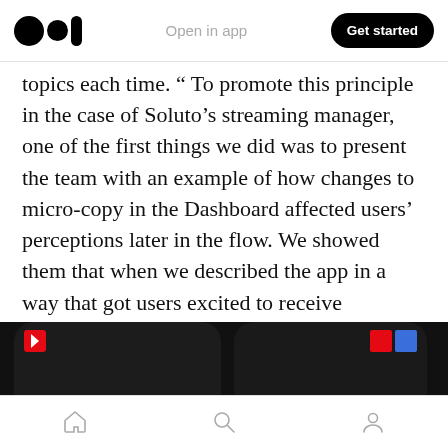Medium logo | Open in app | Get started
topics each time. “ To promote this principle in the case of Soluto’s streaming manager, one of the first things we did was to present the team with an example of how changes to micro-copy in the Dashboard affected users’ perceptions later in the flow. We showed them that when we described the app in a way that got users excited to receive immediate value, users were practically blind to a ‘Coming soon’ title we expected them to react to in the following screen.
[Figure (screenshot): Bottom portion of two mobile app screenshots showing dark-themed streaming app interfaces]
Home | Search | Profile navigation icons